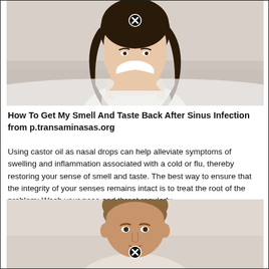[Figure (photo): Woman in white shirt holding a tissue to her nose, blowing her nose, with a close/X button overlay]
How To Get My Smell And Taste Back After Sinus Infection from p.transaminasas.org
Using castor oil as nasal drops can help alleviate symptoms of swelling and inflammation associated with a cold or flu, thereby restoring your sense of smell and taste. The best way to ensure that the integrity of your senses remains intact is to treat the root of the problem: Wash your nose and throat regularly.
[Figure (photo): Man with curly hair facing forward, with a close/X button overlay at the bottom]